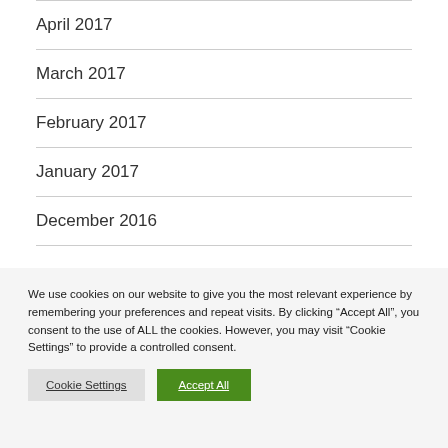April 2017
March 2017
February 2017
January 2017
December 2016
We use cookies on our website to give you the most relevant experience by remembering your preferences and repeat visits. By clicking “Accept All”, you consent to the use of ALL the cookies. However, you may visit "Cookie Settings" to provide a controlled consent.
Cookie Settings | Accept All